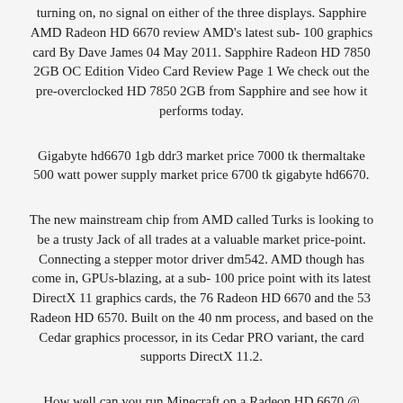turning on, no signal on either of the three displays. Sapphire AMD Radeon HD 6670 review AMD's latest sub- 100 graphics card By Dave James 04 May 2011. Sapphire Radeon HD 7850 2GB OC Edition Video Card Review Page 1 We check out the pre-overclocked HD 7850 2GB from Sapphire and see how it performs today.
Gigabyte hd6670 1gb ddr3 market price 7000 tk thermaltake 500 watt power supply market price 6700 tk gigabyte hd6670.
The new mainstream chip from AMD called Turks is looking to be a trusty Jack of all trades at a valuable market price-point. Connecting a stepper motor driver dm542. AMD though has come in, GPUs-blazing, at a sub- 100 price point with its latest DirectX 11 graphics cards, the 76 Radeon HD 6670 and the 53 Radeon HD 6570. Built on the 40 nm process, and based on the Cedar graphics processor, in its Cedar PRO variant, the card supports DirectX 11.2.
How well can you run Minecraft on a Radeon HD 6670 @